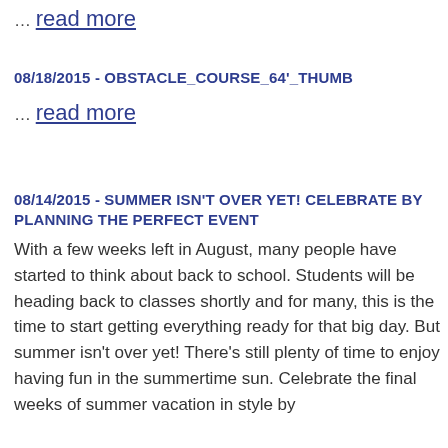… read more
08/18/2015 - OBSTACLE_COURSE_64'_THUMB
… read more
08/14/2015 - SUMMER ISN'T OVER YET! CELEBRATE BY PLANNING THE PERFECT EVENT
With a few weeks left in August, many people have started to think about back to school. Students will be heading back to classes shortly and for many, this is the time to start getting everything ready for that big day. But summer isn't over yet! There's still plenty of time to enjoy having fun in the summertime sun. Celebrate the final weeks of summer vacation in style by